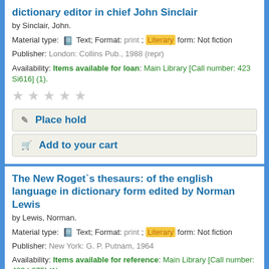dictionary editor in chief John Sinclair
by Sinclair, John.
Material type: Text; Format: print ; Literary form: Not fiction
Publisher: London: Collins Pub., 1988 (repr)
Availability: Items available for loan: Main Library [Call number: 423 Si616] (1).
Place hold
Add to your cart
The New Roget`s thesaurs: of the english language in dictionary form edited by Norman Lewis
by Lewis, Norman.
Material type: Text; Format: print ; Literary form: Not fiction
Publisher: New York: G. P. Putnam, 1964
Availability: Items available for reference: Main Library [Call number: 423 L675] (1).